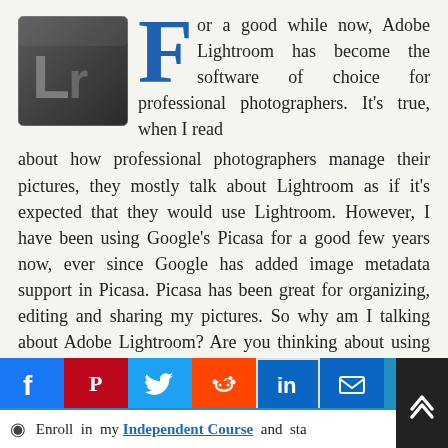[Figure (logo): Adobe Lightroom app icon — dark metallic background with 'Lr' letters in gray, gradient square shape]
For a good while now, Adobe Lightroom has become the software of choice for professional photographers. It's true, when I read about how professional photographers manage their pictures, they mostly talk about Lightroom as if it's expected that they would use Lightroom. However, I have been using Google's Picasa for a good few years now, ever since Google has added image metadata support in Picasa. Picasa has been great for organizing, editing and sharing my pictures. So why am I talking about Adobe Lightroom? Are you thinking about using Lightroom?
[Figure (infographic): Social sharing bar with icons: Facebook (blue), Pinterest (red), Twitter (light blue), Reddit (orange), LinkedIn (blue with border), Email (blue), Plus/More (teal)]
Enroll in my Independent Course and sta...